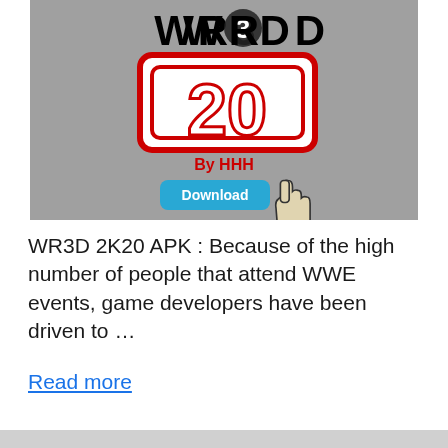[Figure (screenshot): WR3D 2K20 app promotional image showing the WR3D logo with '20' in large red-outlined white letters, 'By HHH' subtitle in red, on a grey background, with a blue Download button and a hand cursor icon.]
WR3D 2K20 APK : Because of the high number of people that attend WWE events, game developers have been driven to …
Read more